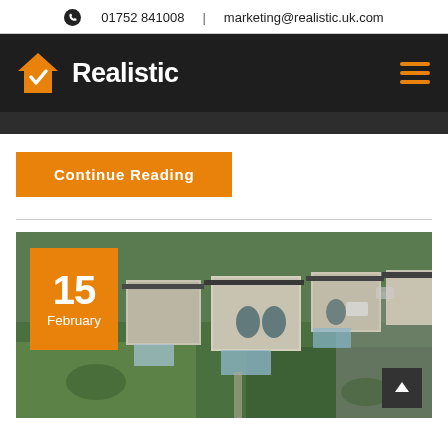01752 841008 | marketing@realistic.uk.com
[Figure (logo): Realistic estate agency logo with orange house checkmark icon and white bold text 'Realistic' on dark background, plus hamburger menu icon]
[Figure (photo): Aerial/drone photograph of a row of UK residential houses with gardens, conservatories and grey roofs surrounded by green lawns, with an orange date badge showing '15 February' overlaid on the top-left]
Continue Reading